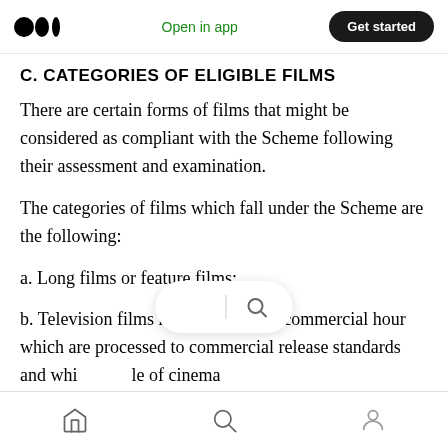Open in app | Get started
C. CATEGORIES OF ELIGIBLE FILMS
There are certain forms of films that might be considered as compliant with the Scheme following their assessment and examination.
The categories of films which fall under the Scheme are the following:
a. Long films or feature films;
b. Television films not less than one commercial hour which are processed to commercial release standards and whi... le of cinema
Home | Search | Profile